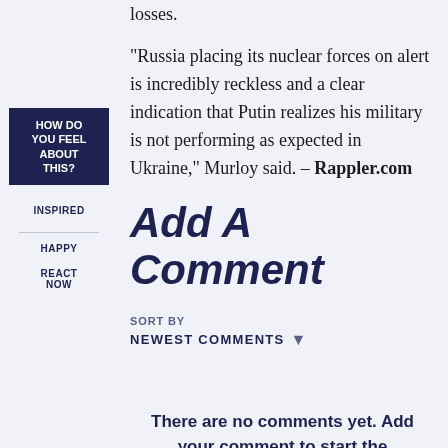losses.
“Russia placing its nuclear forces on alert is incredibly reckless and a clear indication that Putin realizes his military is not performing as expected in Ukraine,” Murloy said. – Rappler.com
HOW DO YOU FEEL ABOUT THIS?
INSPIRED
HAPPY
REACT NOW
Add A Comment
SORT BY
NEWEST COMMENTS
There are no comments yet. Add your comment to start the conversation.